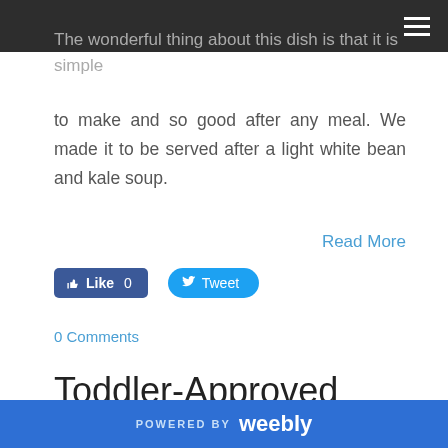The wonderful thing about this dish is that it is simple to make and so good after any meal. We made it to be served after a light white bean and kale soup.
Read More
[Figure (other): Facebook Like button (Like 0) and Twitter Tweet button]
0 Comments
Toddler-Approved Vegan Candied Sweet Potatoes
11/21/2019
0 Comments
POWERED BY weebly